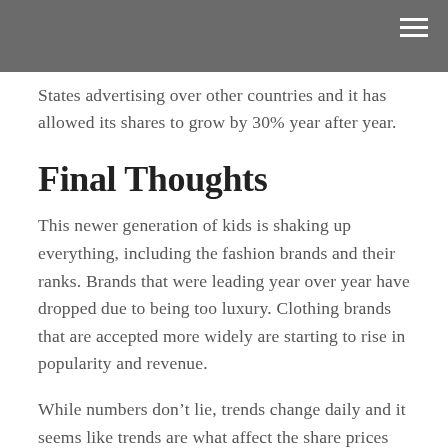States advertising over other countries and it has allowed its shares to grow by 30% year after year.
Final Thoughts
This newer generation of kids is shaking up everything, including the fashion brands and their ranks. Brands that were leading year over year have dropped due to being too luxury. Clothing brands that are accepted more widely are starting to rise in popularity and revenue.
While numbers don’t lie, trends change daily and it seems like trends are what affect the share prices and revenue of any given company. These